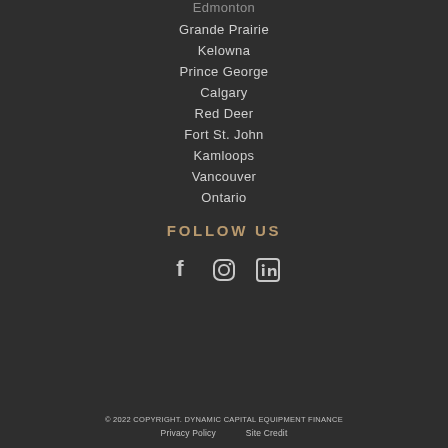Edmonton
Grande Prairie
Kelowna
Prince George
Calgary
Red Deer
Fort St. John
Kamloops
Vancouver
Ontario
FOLLOW US
[Figure (infographic): Social media icons: Facebook, Instagram, LinkedIn]
© 2022 COPYRIGHT. DYNAMIC CAPITAL EQUIPMENT FINANCE Privacy Policy   Site Credit